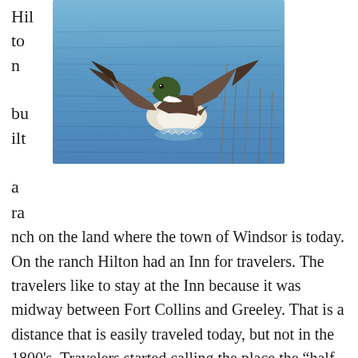[Figure (photo): A duck (pintail or similar waterfowl) landing on or taking off from blue rippling water, wings spread, photographed outdoors.]
Hilton built a ranch on the land where the town of Windsor is today. On the ranch Hilton had an Inn for travelers. The travelers like to stay at the Inn because it was midway between Fort Collins and Greeley. That is a distance that is easily traveled today, but not in the 1800's. Travelers started calling the place the “half way house.” This was certainly not a good name for a town. It was officially named Windsor in 1890. It was named after the Rev. Samuel Asa Windsor, a pastor